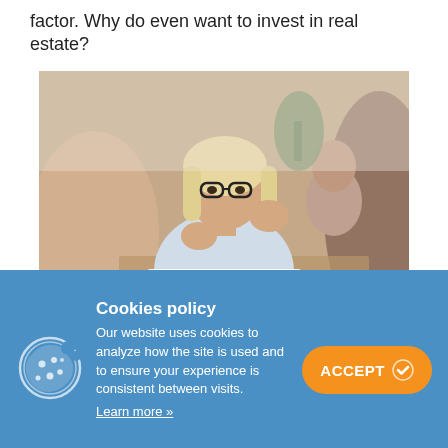factor. Why do even want to invest in real estate?
[Figure (photo): A blonde woman with glasses speaking and gesturing with hands at a meeting table, with another woman visible in the background. RealWealth logo watermark visible at bottom.]
Cookies policy
Our website uses cookies to analyze how the site is used and to ensure your experience is consistent between visits.
Learn more »